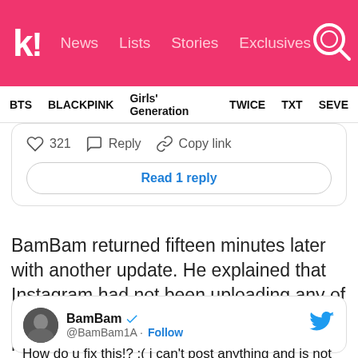k! News  Lists  Stories  Exclusives
BTS  BLACKPINK  Girls' Generation  TWICE  TXT  SEVE...
[Figure (screenshot): Partial tweet card showing 321 likes, Reply, Copy link actions and a 'Read 1 reply' button]
BamBam returned fifteen minutes later with another update. He explained that Instagram had not been uploading any of his attempts at posts for the past two hours.
[Figure (screenshot): Tweet card: BamBam @BamBam1A verified. Tweet text: How do u fix this!? :( i can't post anything and is not uploading for 2hours now :(]